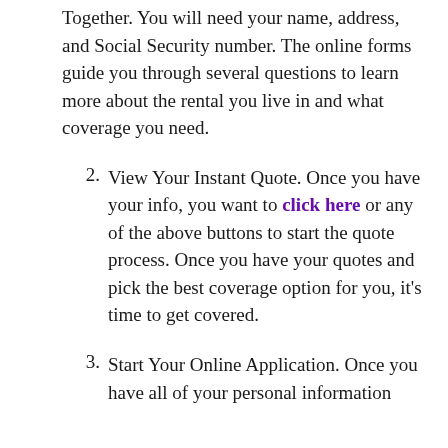Together. You will need your name, address, and Social Security number. The online forms guide you through several questions to learn more about the rental you live in and what coverage you need.
2. View Your Instant Quote. Once you have your info, you want to click here or any of the above buttons to start the quote process. Once you have your quotes and pick the best coverage option for you, it’s time to get covered.
3. Start Your Online Application. Once you have all of your personal information